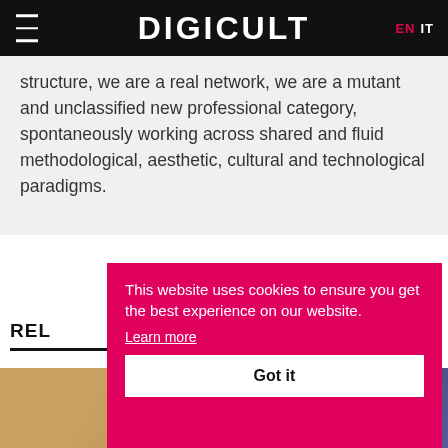DIGICULT  EN  IT
structure, we are a real network, we are a mutant and unclassified new professional category, spontaneously working across shared and fluid methodological, aesthetic, cultural and technological paradigms.
REL
[Figure (photo): Two thumbnail images partially visible at the bottom of the page]
This website uses cookies to ensure you get the best experience on our website. Learn more  Got it